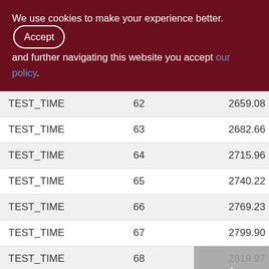We use cookies to make your experience better. By accepting and further navigating this website you accept our policy.
|  |  |  |
| --- | --- | --- |
| TEST_TIME | 62 | 2659.08 |
| TEST_TIME | 63 | 2682.66 |
| TEST_TIME | 64 | 2715.96 |
| TEST_TIME | 65 | 2740.22 |
| TEST_TIME | 66 | 2769.23 |
| TEST_TIME | 67 | 2799.90 |
| TEST_TIME | 68 | 2819.97 |
| TEST_TIME | 69 | 2841.75 |
| TEST_TIME | 70 |  |